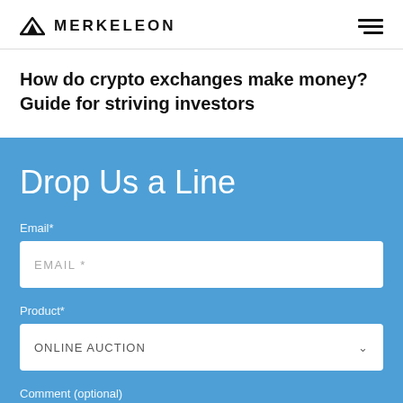MERKELEON
How do crypto exchanges make money? Guide for striving investors
Drop Us a Line
Email*
EMAIL *
Product*
ONLINE AUCTION
Comment (optional)